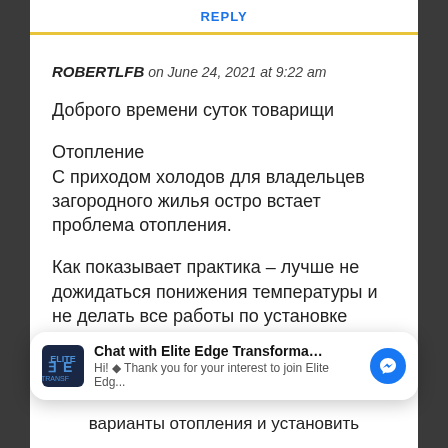REPLY
ROBERTLFB on June 24, 2021 at 9:22 am
Доброго времени суток товарищи
Отопление
С приходом холодов для владельцев загородного жилья остро встает проблема отопления.
Как показывает практика – лучше не дожидаться понижения температуры и не делать все работы по установке отопительного
[Figure (screenshot): Chat widget overlay: Chat with Elite Edge Transformatio... Hi! Thank you for your interest to join Elite Edg... with Messenger icon]
варианты отопления и установить